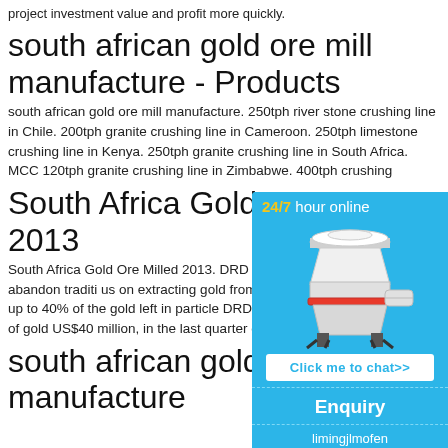project investment value and profit more quickly.
south african gold ore mill manufacture - Products
south african gold ore mill manufacture. 250tph river stone crushing line in Chile. 200tph granite crushing line in Cameroon. 250tph limestone crushing line in Kenya. 250tph granite crushing line in South Africa. MCC 120tph granite crushing line in Zimbabwe. 400tph crushing
South Africa Gold Ore M 2013
South Africa Gold Ore Milled 2013. DRD Go South African companies to abandon traditi us on extracting gold from tailings. New techno recover up to 40% of the gold left in particle DRD Gold extracted 33,600 ounces of gold US$40 million, in the last quarter of 2013.
south african gold ore m manufacture
[Figure (other): A blue sidebar widget showing '24/7 hour online' header, a cone crusher machine image, a 'Click me to chat>>' button, an 'Enquiry' section and 'limingjlmofen' username.]